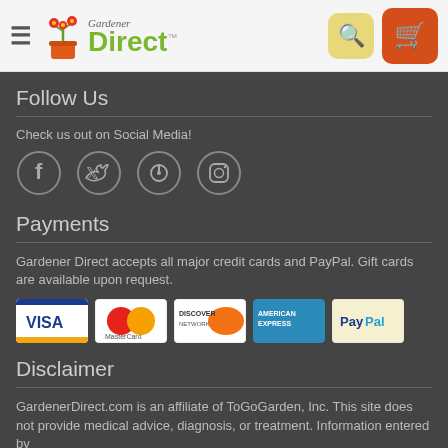[Figure (logo): Gardener Direct logo with plant icon, green text, hamburger menu, search button, and cart button]
Follow Us
Check us out on Social Media!
[Figure (illustration): Four social media icons in circles: Facebook, Twitter, Pinterest, Instagram]
Payments
Gardener Direct accepts all major credit cards and PayPal. Gift cards are available upon request.
[Figure (illustration): Payment method logos: Visa, MasterCard, Discover, American Express, PayPal]
Disclaimer
GardenerDirect.com is an affiliate of ToGoGarden, Inc. This site does not provide medical advice, diagnosis, or treatment. Information entered by